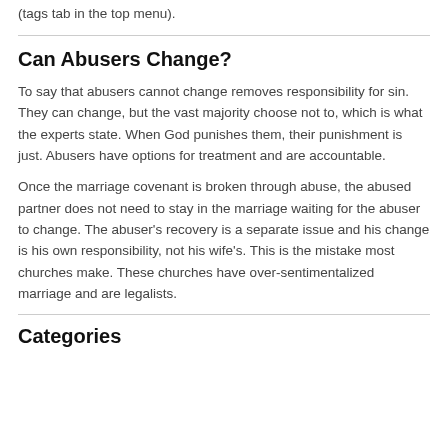(tags tab in the top menu).
Can Abusers Change?
To say that abusers cannot change removes responsibility for sin. They can change, but the vast majority choose not to, which is what the experts state. When God punishes them, their punishment is just. Abusers have options for treatment and are accountable.
Once the marriage covenant is broken through abuse, the abused partner does not need to stay in the marriage waiting for the abuser to change. The abuser's recovery is a separate issue and his change is his own responsibility, not his wife's. This is the mistake most churches make. These churches have over-sentimentalized marriage and are legalists.
Categories